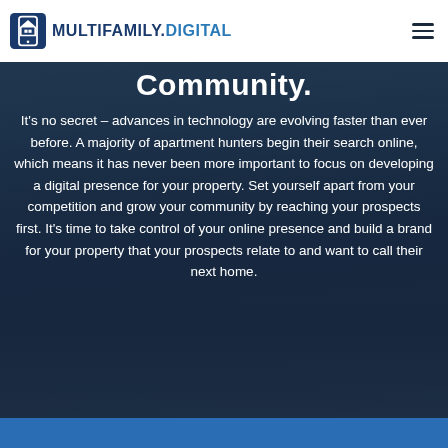MULTIFAMILY.DIGITAL
Community.
It’s no secret – advances in technology are evolving faster than ever before. A majority of apartment hunters begin their search online, which means it has never been more important to focus on developing a digital presence for your property. Set yourself apart from your competition and grow your community by reaching your prospects first. It’s time to take control of your online presence and build a brand for your property that your prospects relate to and want to call their next home.